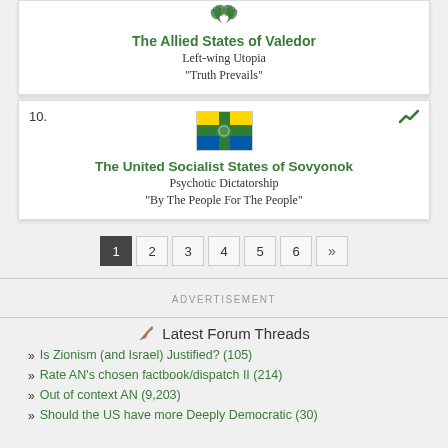The Allied States of Valedor
Left-wing Utopia
"Truth Prevails"
10.
[Figure (illustration): Flag of The United Socialist States of Sovyonok - green cross on blue/yellow background]
The United Socialist States of Sovyonok
Psychotic Dictatorship
"By The People For The People"
Pagination: 1 2 3 4 5 6 »
ADVERTISEMENT
Latest Forum Threads
Is Zionism (and Israel) Justified? (105)
Rate AN's chosen factbook/dispatch II (214)
Out of context AN (9,203)
Should the US have more Deeply Democratic (30)